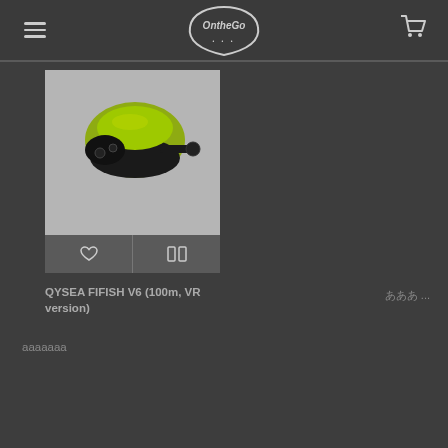OntheGo (logo with hamburger menu and cart icon)
[Figure (photo): QYSEA FIFISH V6 underwater drone product photo - green and black device on grey background]
QYSEA FIFISH V6 (100m, VR version)
あああ ...
ааааааа